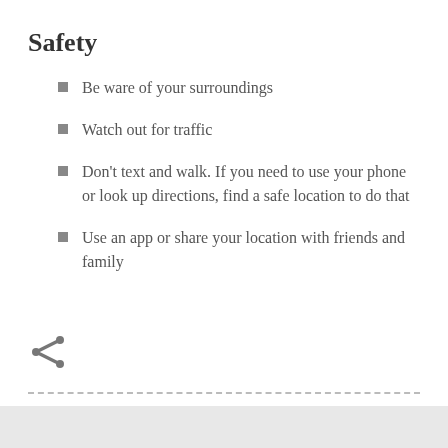Safety
Be ware of your surroundings
Watch out for traffic
Don't text and walk. If you need to use your phone or look up directions, find a safe location to do that
Use an app or share your location with friends and family
[Figure (illustration): Share icon (less-than sign style share button)]